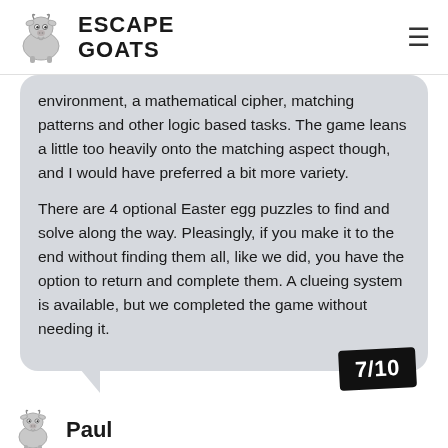ESCAPE GOATS
environment, a mathematical cipher, matching patterns and other logic based tasks. The game leans a little too heavily onto the matching aspect though, and I would have preferred a bit more variety.

There are 4 optional Easter egg puzzles to find and solve along the way. Pleasingly, if you make it to the end without finding them all, like we did, you have the option to return and complete them. A clueing system is available, but we completed the game without needing it.
7/10
Paul
[score only]